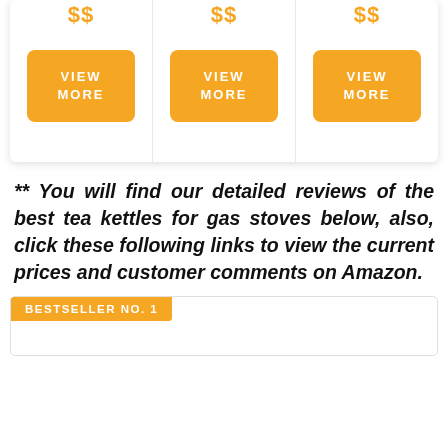[Figure (other): Three product card columns each showing a price label '$$' and an orange 'VIEW MORE' button]
** You will find our detailed reviews of the best tea kettles for gas stoves below, also, click these following links to view the current prices and customer comments on Amazon.
BESTSELLER NO. 1